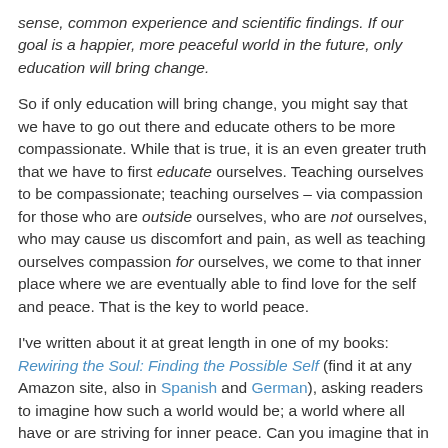sense, common experience and scientific findings. If our goal is a happier, more peaceful world in the future, only education will bring change.
So if only education will bring change, you might say that we have to go out there and educate others to be more compassionate. While that is true, it is an even greater truth that we have to first educate ourselves. Teaching ourselves to be compassionate; teaching ourselves – via compassion for those who are outside ourselves, who are not ourselves, who may cause us discomfort and pain, as well as teaching ourselves compassion for ourselves, we come to that inner place where we are eventually able to find love for the self and peace. That is the key to world peace.
I've written about it at great length in one of my books: Rewiring the Soul: Finding the Possible Self (find it at any Amazon site, also in Spanish and German), asking readers to imagine how such a world would be; a world where all have or are striving for inner peace. Can you imagine that in such a world there would be hunger? Injustice? War? Lack of food, or water, or education for all? The consequences of